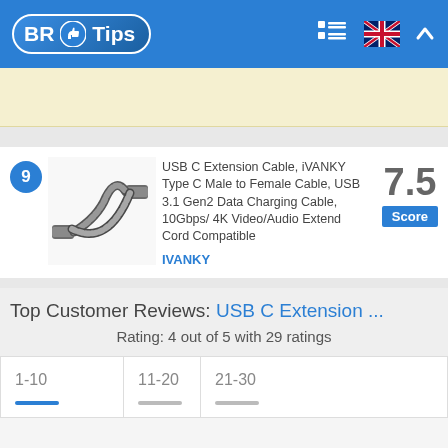BR Tips
[Figure (other): Advertisement banner with light yellow background]
USB C Extension Cable, iVANKY Type C Male to Female Cable, USB 3.1 Gen2 Data Charging Cable, 10Gbps/ 4K Video/Audio Extend Cord Compatible - Score: 7.5 - Brand: IVANKY - Rank: 9
Top Customer Reviews: USB C Extension ...
Rating: 4 out of 5 with 29 ratings
1-10  11-20  21-30